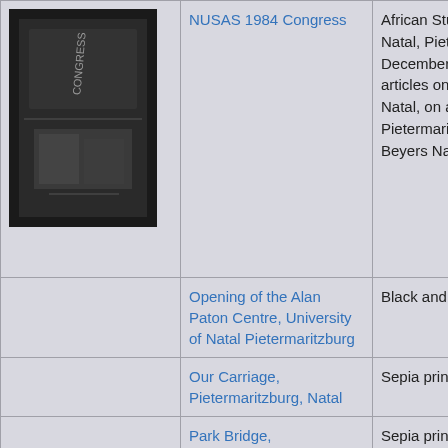[Figure (photo): Black and white photo of NUSAS 1984 Congress publication cover showing text 'CONGRESS']
NUSAS 1984 Congress
African Students, University of Natal, Pietermaritzburg, 2-7 December 1984. Includes short articles on forced removals in Natal, on an alternative history of Pietermaritzburg and a tribute to Beyers NaudÃƒÂ©
Opening of the Alan Paton Centre, University of Natal Pietermaritzburg
Black and white print 9 x 12cm
Our Carriage, Pietermaritzburg, Natal
Sepia print 8.8 x 6cm
Park Bridge, Pietermaritzburg, about 1865. West Street and Fort Napier in background
Sepia print, hand coloured 15.3 x 19.2cm